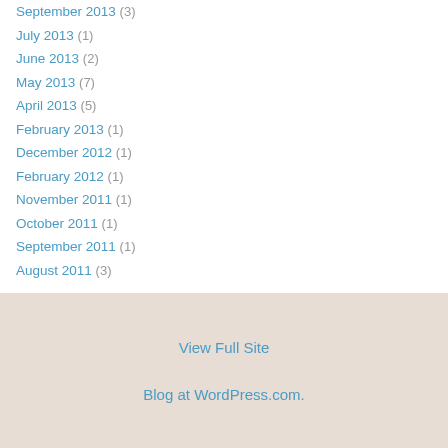September 2013 (3)
July 2013 (1)
June 2013 (2)
May 2013 (7)
April 2013 (5)
February 2013 (1)
December 2012 (1)
February 2012 (1)
November 2011 (1)
October 2011 (1)
September 2011 (1)
August 2011 (3)
View Full Site
Blog at WordPress.com.